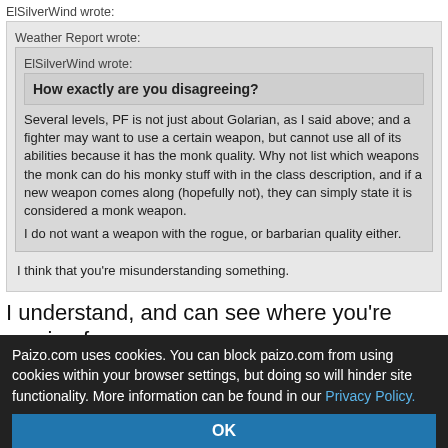ElSilverWind wrote:
Weather Report wrote:
ElSilverWind wrote:
How exactly are you disagreeing?
Several levels, PF is not just about Golarian, as I said above; and a fighter may want to use a certain weapon, but cannot use all of its abilities because it has the monk quality. Why not list which weapons the monk can do his monky stuff with in the class description, and if a new weapon comes along (hopefully not), they can simply state it is considered a monk weapon.
I do not want a weapon with the rogue, or barbarian quality either.
I think that you're misunderstanding something.
I understand, and can see where you're coming from,
Paizo.com uses cookies. You can block paizo.com from using cookies within your browser settings, but doing so will hinder site functionality. More information can be found in our Privacy Policy.
OK